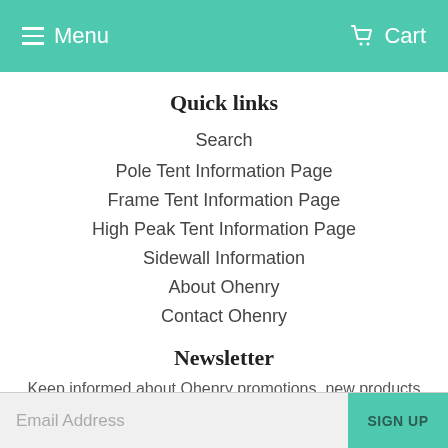Menu   Cart
Quick links
Search
Pole Tent Information Page
Frame Tent Information Page
High Peak Tent Information Page
Sidewall Information
About Ohenry
Contact Ohenry
Newsletter
Keep informed about Ohenry promotions, new products and sales. Directly to your inbox.
Email Address   SIGN UP